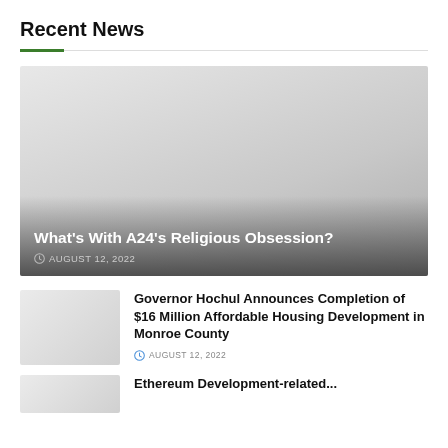Recent News
[Figure (photo): Featured news image with gradient overlay showing article title and date. Gray placeholder image.]
What's With A24's Religious Obsession?
AUGUST 12, 2022
[Figure (photo): Small thumbnail placeholder image for Governor Hochul article]
Governor Hochul Announces Completion of $16 Million Affordable Housing Development in Monroe County
AUGUST 12, 2022
[Figure (photo): Small thumbnail placeholder image for partially visible article at bottom]
Ethereum Development-related...